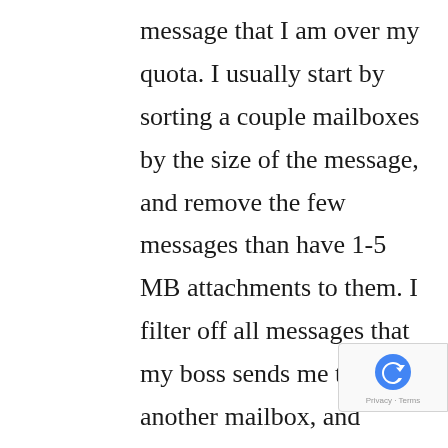message that I am over my quota. I usually start by sorting a couple mailboxes by the size of the message, and remove the few messages than have 1-5 MB attachments to them. I filter off all messages that my boss sends me to another mailbox, and ususally move all those messages to my machine locally. Then, I sort through the 500-1000 messages in my inbox. I sometimes write new mail filtering rules just to process 20-50 emails from the same person. I sort by who it is from, and either dump it in another mailbox, or delete it. I move around to 3 stores, and on 3 different workstations at each store, so I try to keep as much email on the central server as possible. This helps me avoid having to return to my main machine to